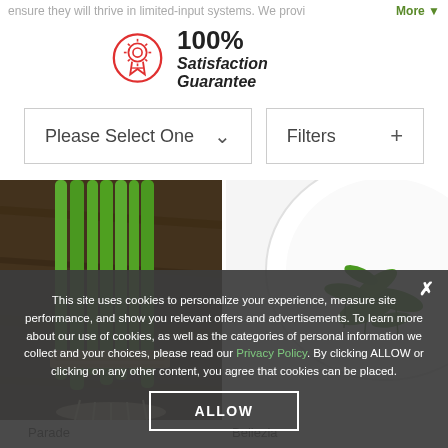ensure they will thrive in limited-input systems. We provi
More ▾
[Figure (infographic): 100% Satisfaction Guarantee badge with red circular medal/ribbon icon]
100%
Satisfaction Guarantee
Please Select One ∨
Filters +
[Figure (photo): Bundle of green onions/scallions tied with twine on wooden surface]
[Figure (photo): Arugula greens on a white plate]
This site uses cookies to personalize your experience, measure site performance, and show you relevant offers and advertisements. To learn more about our use of cookies, as well as the categories of personal information we collect and your choices, please read our Privacy Policy. By clicking ALLOW or clicking on any other content, you agree that cookies can be placed.
ALLOW
Parade
Organic Onion Seed
Bellezia
Organic Wild Arugula Seed